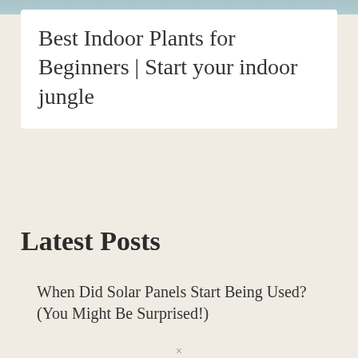[Figure (photo): A thin strip of a nature/outdoor photo at the very top of the page, showing blue-gray tones.]
Best Indoor Plants for Beginners | Start your indoor jungle
Latest Posts
When Did Solar Panels Start Being Used? (You Might Be Surprised!)
How Do Solar Panels Help Climate Change and...